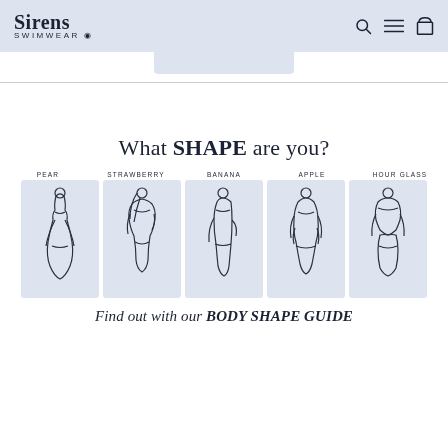Sirens SWIMWEAR
What SHAPE are you?
[Figure (illustration): Five body shape illustrations labeled PEAR, STRAWBERRY, BANANA, APPLE, HOUR GLASS showing female figures in swimwear outlines on light blue backgrounds]
Find out with our BODY SHAPE GUIDE